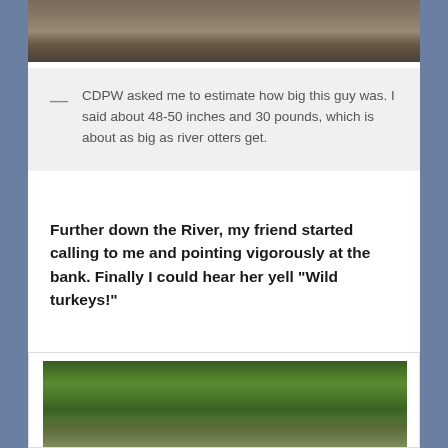[Figure (photo): Top portion of a photo showing a river otter near rocks and water, partially cropped at top of page]
— CDPW asked me to estimate how big this guy was. I said about 48-50 inches and 30 pounds, which is about as big as river otters get.
Further down the River, my friend started calling to me and pointing vigorously at the bank. Finally I could hear her yell "Wild turkeys!"
[Figure (photo): Photo of wild turkeys walking through tall green grass on a riverbank]